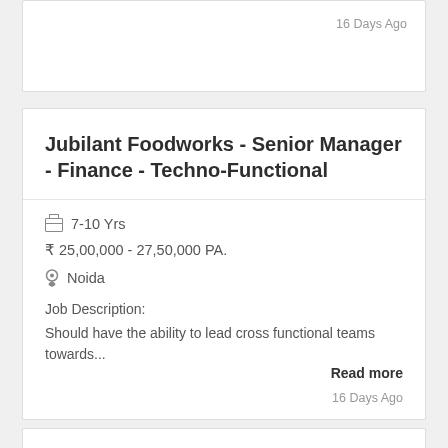16 Days Ago
Jubilant Foodworks - Senior Manager - Finance - Techno-Functional
7-10 Yrs
₹ 25,00,000 - 27,50,000 PA.
Noida
Job Description:
Should have the ability to lead cross functional teams towards...
Read more
16 Days Ago